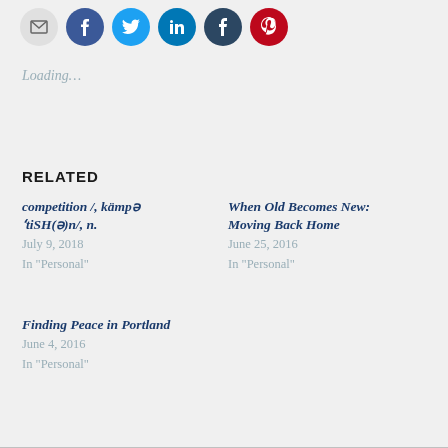[Figure (other): Row of social sharing icon buttons: email (gray), Facebook (blue), Twitter (light blue), LinkedIn (dark blue), Tumblr (dark navy), Pinterest (red)]
Loading…
RELATED
competition /ˌkämpəˈtiSH(ə)n/, n.
July 9, 2018
In "Personal"
When Old Becomes New: Moving Back Home
June 25, 2016
In "Personal"
Finding Peace in Portland
June 4, 2016
In "Personal"